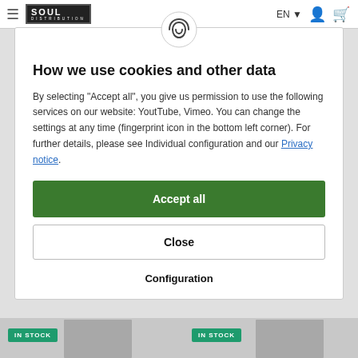≡  SOUL DISTRIBUTION  EN  [user icon] [cart icon]
How we use cookies and other data
By selecting "Accept all", you give us permission to use the following services on our website: YoutTube, Vimeo. You can change the settings at any time (fingerprint icon in the bottom left corner). For further details, please see Individual configuration and our Privacy notice.
Accept all
Close
Configuration